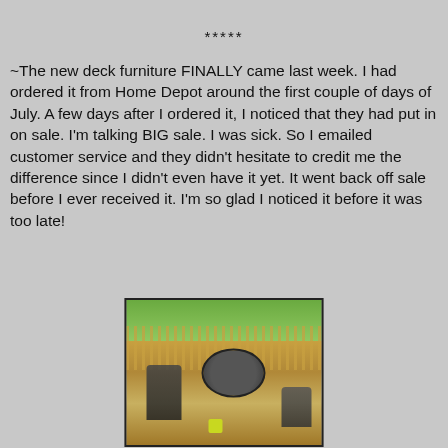*****
~The new deck furniture FINALLY came last week.  I had ordered it from Home Depot around the first couple of days of July.  A few days after I ordered it, I noticed that they had put in on sale. I'm talking BIG sale.  I was sick.  So I emailed customer service and they didn't hesitate to credit me the difference since I didn't even have it yet.  It went back off sale before I ever received it.  I'm so glad I noticed it before it was too late!
[Figure (photo): Photo of deck furniture including a round metal table and chairs on a wooden deck with railing and green trees in background.]